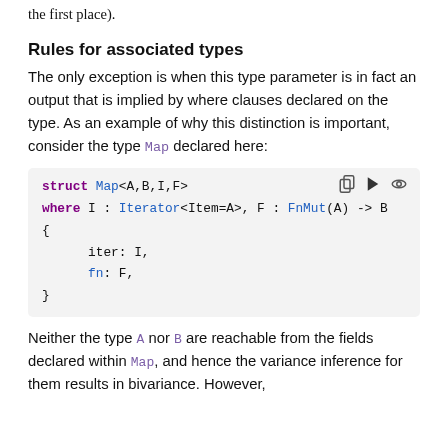the first place).
Rules for associated types
The only exception is when this type parameter is in fact an output that is implied by where clauses declared on the type. As an example of why this distinction is important, consider the type Map declared here:
[Figure (screenshot): Code block showing Rust struct Map<A,B,I,F> where I : Iterator<Item=A>, F : FnMut(A) -> B { iter: I, fn: F, } with copy, play, and eye icons in top right]
Neither the type A nor B are reachable from the fields declared within Map, and hence the variance inference for them results in bivariance. However,